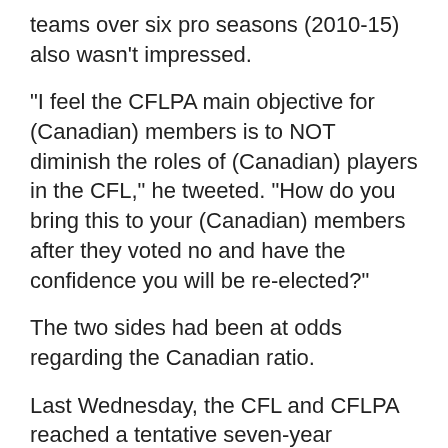teams over six pro seasons (2010-15) also wasn't impressed.
"I feel the CFLPA main objective for (Canadian) members is to NOT diminish the roles of (Canadian) players in the CFL," he tweeted. "How do you bring this to your (Canadian) members after they voted no and have the confidence you will be re-elected?"
The two sides had been at odds regarding the Canadian ratio.
Last Wednesday, the CFL and CFLPA reached a tentative seven-year agreement, ending a four-day strike by seven of the league's nine teams. At first glance, there seemed to be many positives for the players, including a revenue-